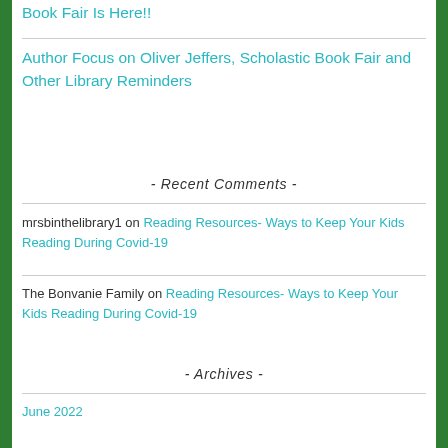Book Fair Is Here!!
Author Focus on Oliver Jeffers, Scholastic Book Fair and Other Library Reminders
- Recent Comments -
mrsbinthelibrary1 on Reading Resources- Ways to Keep Your Kids Reading During Covid-19
The Bonvanie Family on Reading Resources- Ways to Keep Your Kids Reading During Covid-19
- Archives -
June 2022